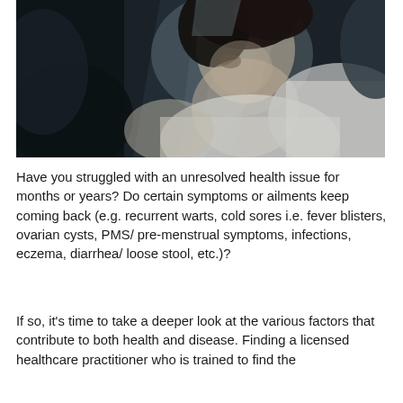[Figure (photo): A woman in a white top with dark hair, looking downward in a pensive or pained expression, photographed against a dark blurred background with light streaks.]
Have you struggled with an unresolved health issue for months or years? Do certain symptoms or ailments keep coming back (e.g. recurrent warts, cold sores i.e. fever blisters, ovarian cysts, PMS/ pre-menstrual symptoms, infections, eczema, diarrhea/ loose stool, etc.)?
If so, it's time to take a deeper look at the various factors that contribute to both health and disease. Finding a licensed healthcare practitioner who is trained to find the